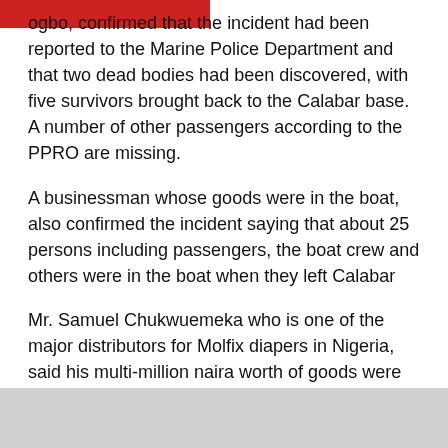ogbo, confirmed that the incident had been reported to the Marine Police Department and that two dead bodies had been discovered, with five survivors brought back to the Calabar base. A number of other passengers according to the PPRO are missing.
A businessman whose goods were in the boat, also confirmed the incident saying that about 25 persons including passengers, the boat crew and others were in the boat when they left Calabar
Mr. Samuel Chukwuemeka who is one of the major distributors for Molfix diapers in Nigeria, said his multi-million naira worth of goods were loaded in the boat which had other loads of goods such as wine and beverages; all